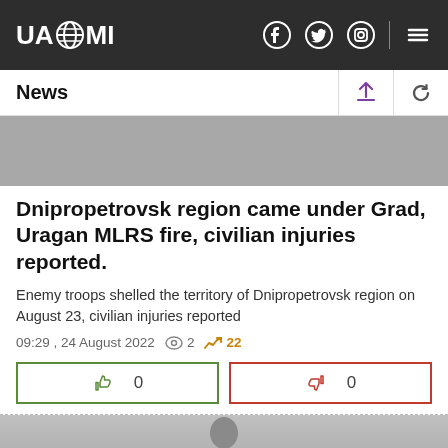UAZMI
News
Dnipropetrovsk region came under Grad, Uragan MLRS fire, civilian injuries reported.
Enemy troops shelled the territory of Dnipropetrovsk region on August 23, civilian injuries reported
09:29 , 24 August 2022  2  22